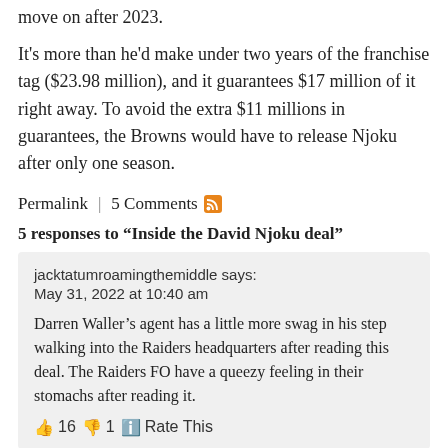move on after 2023.
It's more than he'd make under two years of the franchise tag ($23.98 million), and it guarantees $17 million of it right away. To avoid the extra $11 millions in guarantees, the Browns would have to release Njoku after only one season.
Permalink | 5 Comments [RSS]
5 responses to “Inside the David Njoku deal”
jacktatumroamingthemiddle says:
May 31, 2022 at 10:40 am

Darren Waller’s agent has a little more swag in his step walking into the Raiders headquarters after reading this deal. The Raiders FO have a queezy feeling in their stomachs after reading it.

👍 16 👎 1 ℹ️ Rate This
B... f f lif